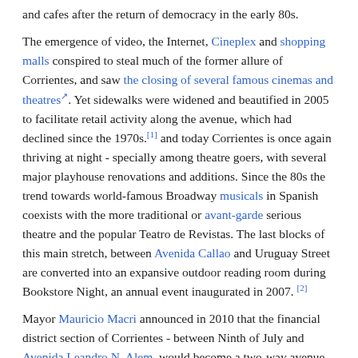and cafes after the return of democracy in the early 80s.
The emergence of video, the Internet, Cineplex and shopping malls conspired to steal much of the former allure of Corrientes, and saw the closing of several famous cinemas and theatres. Yet sidewalks were widened and beautified in 2005 to facilitate retail activity along the avenue, which had declined since the 1970s.[1] and today Corrientes is once again thriving at night - specially among theatre goers, with several major playhouse renovations and additions. Since the 80s the trend towards world-famous Broadway musicals in Spanish coexists with the more traditional or avant-garde serious theatre and the popular Teatro de Revistas. The last blocks of this main stretch, between Avenida Callao and Uruguay Street are converted into an expansive outdoor reading room during Bookstore Night, an annual event inaugurated in 2007.[2]
Mayor Mauricio Macri announced in 2010 that the financial district section of Corrientes - between Ninth of July and Avenida Leandro N. Alem, would become a two-way avenue.[3]
Points of interest